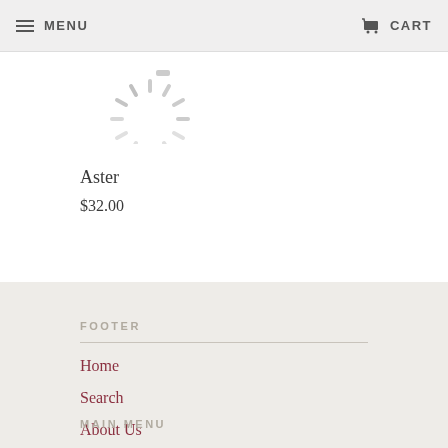MENU  CART
[Figure (illustration): Loading spinner graphic (circular spinner with radiating lines, partially visible, top portion cut off)]
Aster
$32.00
FOOTER
Home
Search
About Us
Contact
MAIN MENU